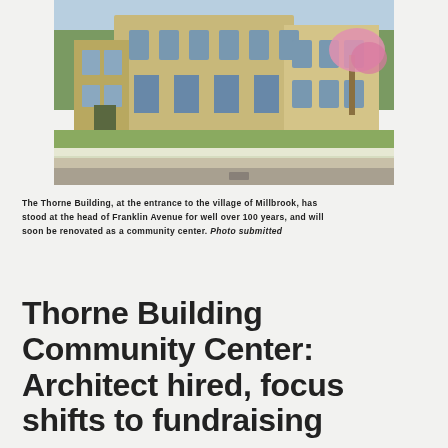[Figure (photo): Exterior photo of the Thorne Building, a tan/beige stone building at the entrance to the village of Millbrook, taken in spring with white daffodils in the foreground and a pink-blossoming tree to the right.]
The Thorne Building, at the entrance to the village of Millbrook, has stood at the head of Franklin Avenue for well over 100 years, and will soon be renovated as a community center. Photo submitted
Thorne Building Community Center: Architect hired, focus shifts to fundraising